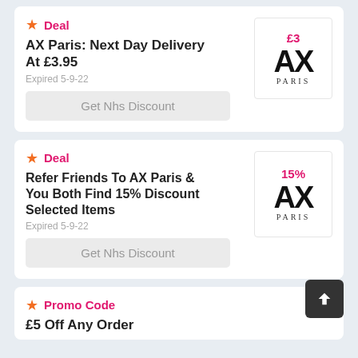★ Deal — AX Paris: Next Day Delivery At £3.95 — Expired 5-9-22 — Get Nhs Discount — £3 AX PARIS logo
★ Deal — Refer Friends To AX Paris & You Both Find 15% Discount Selected Items — Expired 5-9-22 — Get Nhs Discount — 15% AX PARIS logo
★ Promo Code — £5 Off Any Order